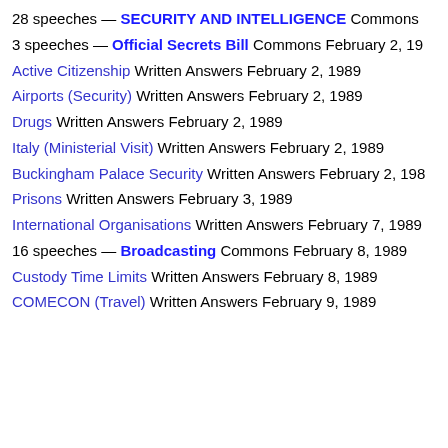28 speeches — SECURITY AND INTELLIGENCE Commons
3 speeches — Official Secrets Bill Commons February 2, 19…
Active Citizenship Written Answers February 2, 1989
Airports (Security) Written Answers February 2, 1989
Drugs Written Answers February 2, 1989
Italy (Ministerial Visit) Written Answers February 2, 1989
Buckingham Palace Security Written Answers February 2, 198…
Prisons Written Answers February 3, 1989
International Organisations Written Answers February 7, 1989
16 speeches — Broadcasting Commons February 8, 1989
Custody Time Limits Written Answers February 8, 1989
COMECON (Travel) Written Answers February 9, 1989